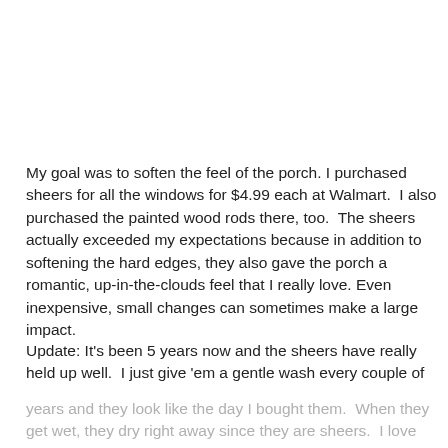My goal was to soften the feel of the porch. I purchased sheers for all the windows for $4.99 each at Walmart.  I also purchased the painted wood rods there, too.  The sheers actually exceeded my expectations because in addition to softening the hard edges, they also gave the porch a romantic, up-in-the-clouds feel that I really love. Even inexpensive, small changes can sometimes make a large impact.
Update: It's been 5 years now and the sheers have really held up well.  I just give 'em a gentle wash every couple of years and they look like the day I bought them.  When they get wet, they dry right away since they are sheers.  I love how light right there... [text continues]